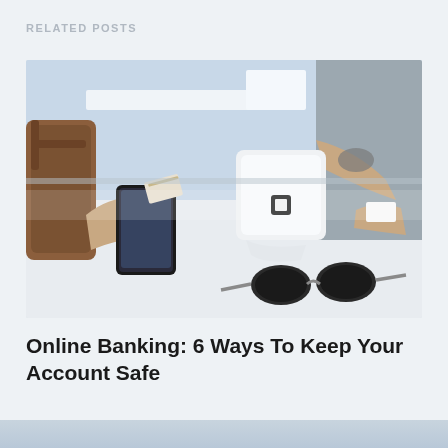RELATED POSTS
[Figure (photo): A person tapping a smartphone on a Square payment terminal at a retail counter. Sunglasses rest on the white counter surface. Another person holds a card or receipt. A brown leather bag is visible in the background.]
Online Banking: 6 Ways To Keep Your Account Safe